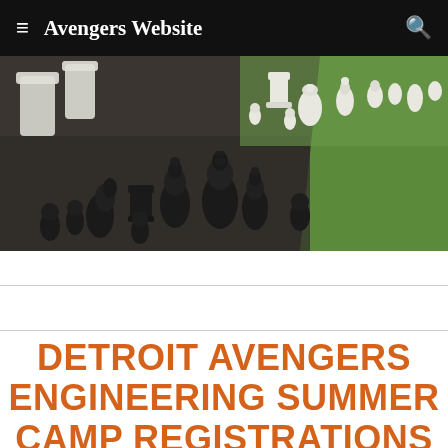Avengers Website
[Figure (photo): Overhead view of large outdoor chess pieces on a concrete surface, with black chess pieces in the foreground and white pieces in the background, next to a green lawn area.]
DETROIT AVENGERS ENGINEERING SUMMER CAMP REGISTRATIONS ARE NOW OPEN!